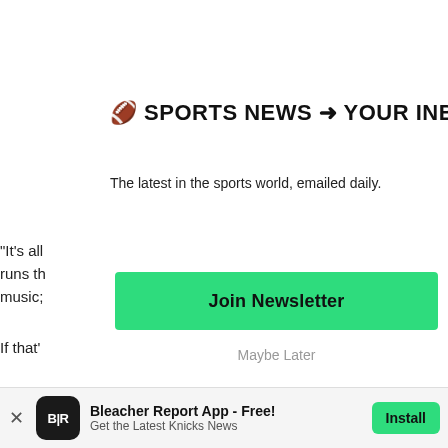🏈 SPORTS NEWS → YOUR INBOX
The latest in the sports world, emailed daily.
"It's all
runs th
music;
[Figure (other): Join Newsletter green button]
Maybe Later
If that'
[Figure (photo): Partially visible photo strip at bottom left]
× Bleacher Report App - Free! Get the Latest Knicks News  Install